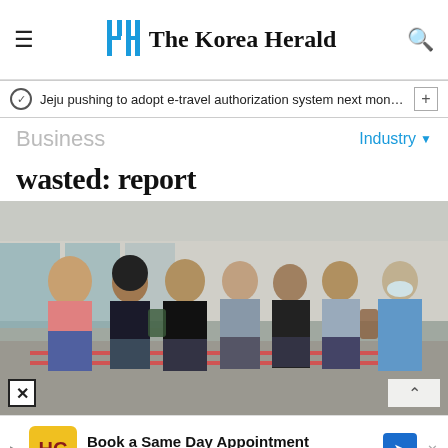The Korea Herald
Jeju pushing to adopt e-travel authorization system next month f…
Business
wasted: report
[Figure (photo): People standing in a long queue outdoors at what appears to be a COVID-19 testing site. A healthcare worker in blue PPE stands at the right side. People are wearing masks and casual clothes.]
Book a Same Day Appointment — Hair Cuttery (advertisement)